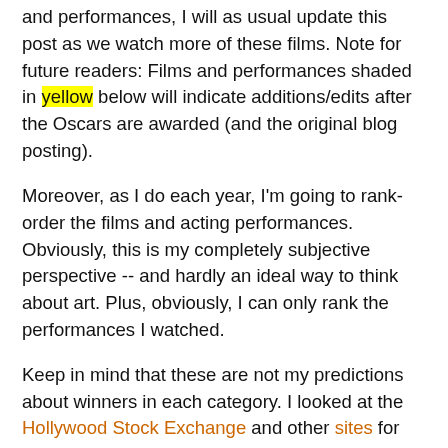and performances, I will as usual update this post as we watch more of these films. Note for future readers: Films and performances shaded in yellow below will indicate additions/edits after the Oscars are awarded (and the original blog posting).
Moreover, as I do each year, I'm going to rank-order the films and acting performances. Obviously, this is my completely subjective perspective -- and hardly an ideal way to think about art. Plus, obviously, I can only rank the performances I watched.
Keep in mind that these are not my predictions about winners in each category. I looked at the Hollywood Stock Exchange and other sites for predictions from odds-makers and betting markets.
Spoiler Alert: Roma is a slight favorite for Best Picture and its director (Alfonso Cuarón) seems to be one of the biggest favorites in a major category.  In other categories, Bohemian Rhapsody star Rami Malek and The Wife star Glenn Close are strongly favored to pick up best acting awards.